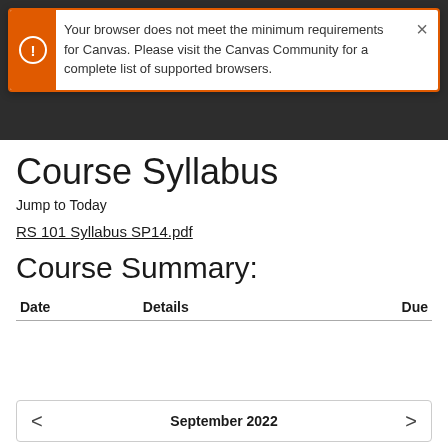Your browser does not meet the minimum requirements for Canvas. Please visit the Canvas Community for a complete list of supported browsers.
Course Syllabus
Jump to Today
RS 101 Syllabus SP14.pdf
Course Summary:
| Date | Details | Due |
| --- | --- | --- |
< September 2022 >